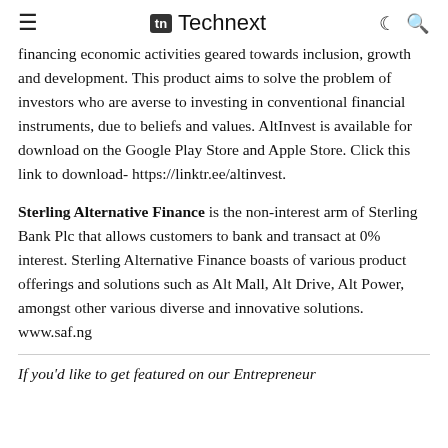Technext
financing economic activities geared towards inclusion, growth and development. This product aims to solve the problem of investors who are averse to investing in conventional financial instruments, due to beliefs and values. AltInvest is available for download on the Google Play Store and Apple Store. Click this link to download- https://linktr.ee/altinvest.
Sterling Alternative Finance is the non-interest arm of Sterling Bank Plc that allows customers to bank and transact at 0% interest. Sterling Alternative Finance boasts of various product offerings and solutions such as Alt Mall, Alt Drive, Alt Power, amongst other various diverse and innovative solutions. www.saf.ng
If you'd like to get featured on our Entrepreneur